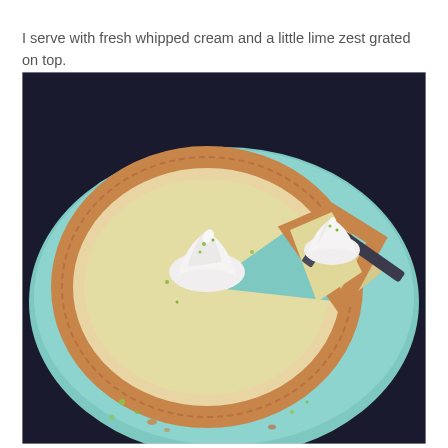I serve with fresh whipped cream and a little lime zest grated on top.
[Figure (photo): A key lime pie with a graham cracker crust on a teal/mint plate. The pie has swirled whipped cream dollops with lime zest sprinkled on top. A slice has been cut and is being served with a pie server/fork on the right side. The filling is a pale yellow-green custard color. Lime zest pieces are visible on the plate around the pie.]